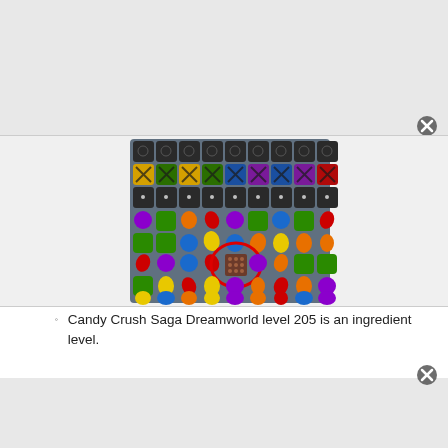[Figure (screenshot): Screenshot of Candy Crush Saga Dreamworld level 205 game board showing colorful candy pieces (green, blue, orange, red, purple, yellow) arranged in a grid with dark/blocked squares at the top and a red circle highlighting an ingredient (hazelnut) in the center of the board]
Candy Crush Saga Dreamworld level 205 is an ingredient level.